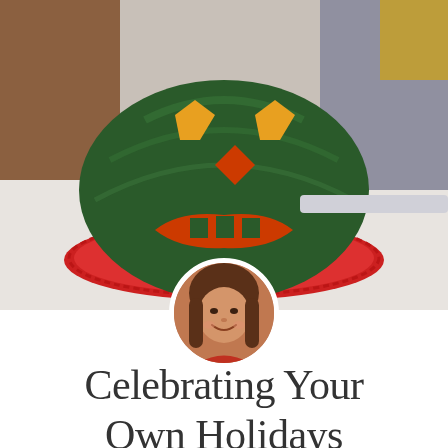[Figure (photo): A carved watermelon jack-o-lantern face sitting on a red decorative plate on a white table, with people visible in the background.]
[Figure (photo): Circular profile photo of a smiling young girl with long brown hair.]
Celebrating Your Own Holidays